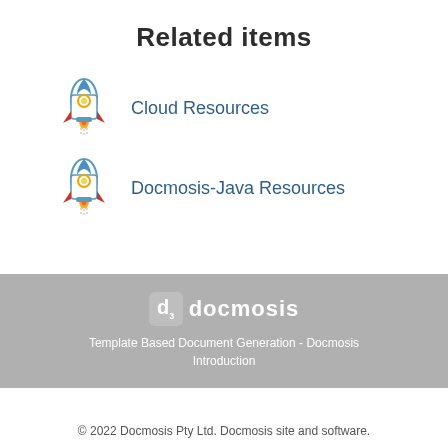Related items
Cloud Resources
Docmosis-Java Resources
[Figure (logo): Docmosis logo with rocket icon and text 'docmosis']
Template Based Document Generation - Docmosis Introduction
© 2022 Docmosis Pty Ltd. Docmosis site and software.